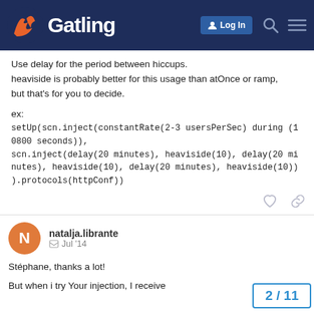Gatling
Use delay for the period between hiccups.
heaviside is probably better for this usage than atOnce or ramp, but that's for you to decide.

ex:

setUp(scn.inject(constantRate(2-3 usersPerSec) during (10800 seconds)),
scn.inject(delay(20 minutes), heaviside(10), delay(20 minutes), heaviside(10), delay(20 minutes), heaviside(10))
).protocols(httpConf))
natalja.librante   Jul '14
Stéphane, thanks a lot!
But when i try Your injection, I receive